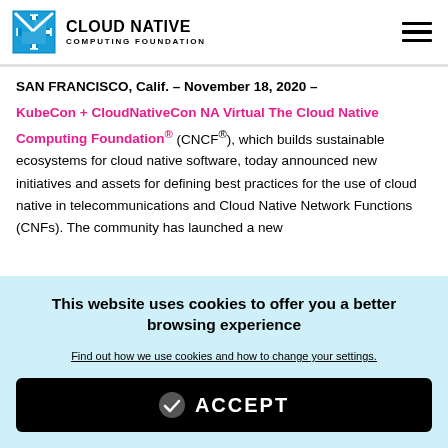CLOUD NATIVE COMPUTING FOUNDATION
SAN FRANCISCO, Calif. – November 18, 2020 – KubeCon + CloudNativeCon NA Virtual The Cloud Native Computing Foundation® (CNCF®), which builds sustainable ecosystems for cloud native software, today announced new initiatives and assets for defining best practices for the use of cloud native in telecommunications and Cloud Native Network Functions (CNFs). The community has launched a new
This website uses cookies to offer you a better browsing experience
Find out how we use cookies and how to change your settings.
ACCEPT